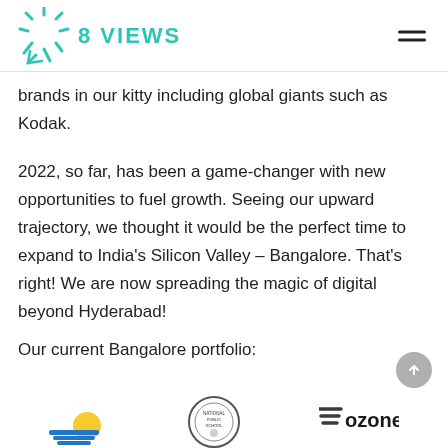8 VIEWS
brands in our kitty including global giants such as Kodak.
2022, so far, has been a game-changer with new opportunities to fuel growth. Seeing our upward trajectory, we thought it would be the perfect time to expand to India's Silicon Valley – Bangalore. That's right! We are now spreading the magic of digital beyond Hyderabad!
Our current Bangalore portfolio:
[Figure (logo): Three brand logos: a sun/beach logo, National Public School circular badge logo, and Ozone logo]